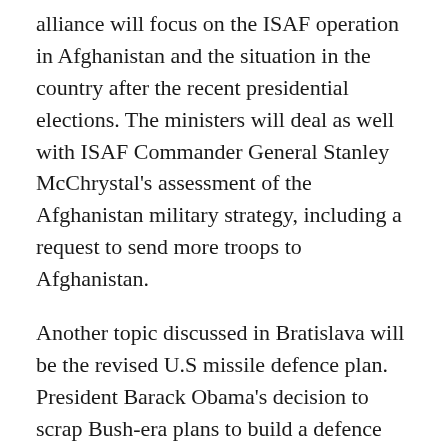alliance will focus on the ISAF operation in Afghanistan and the situation in the country after the recent presidential elections. The ministers will deal as well with ISAF Commander General Stanley McChrystal's assessment of the Afghanistan military strategy, including a request to send more troops to Afghanistan.
Another topic discussed in Bratislava will be the revised U.S missile defence plan. President Barack Obama's decision to scrap Bush-era plans to build a defence system with bases in Poland and the Czech Republic caused some alarm in those countries. However, during a visit by US Vice President Joe Biden to Poland this week Polish Prime Minister Donald Tusk declared his country ready to take part in a new plan.